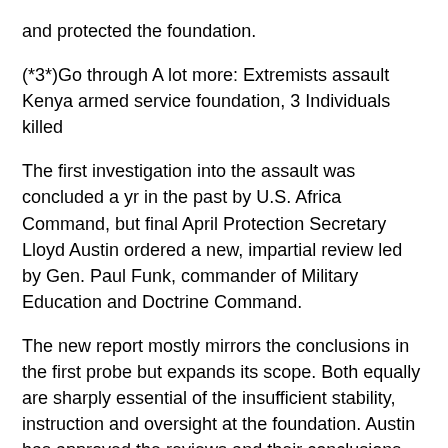and protected the foundation.
(*3*)Go through A lot more: Extremists assault Kenya armed service foundation, 3 Individuals killed
The first investigation into the assault was concluded a yr in the past by U.S. Africa Command, but final April Protection Secretary Lloyd Austin ordered a new, impartial review led by Gen. Paul Funk, commander of Military Education and Doctrine Command.
The new report mostly mirrors the conclusions in the first probe but expands its scope. Both equally are sharply essential of the insufficient stability, instruction and oversight at the foundation. Austin has approved the reviews and their conclusions.
The foundation at Manda Bay has been employed for many years by the U.S. armed service, but it only turned a complete-time airfield in 2016, with greater staff, plane and functions. In accordance to the evaluations, the armed service there in no way modified stability to